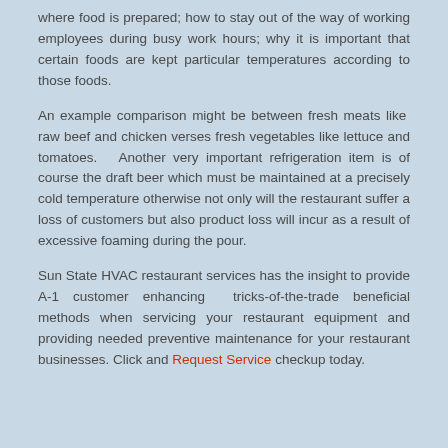where food is prepared; how to stay out of the way of working employees during busy work hours; why it is important that certain foods are kept particular temperatures according to those foods.
An example comparison might be between fresh meats like raw beef and chicken verses fresh vegetables like lettuce and tomatoes.  Another very important refrigeration item is of course the draft beer which must be maintained at a precisely cold temperature otherwise not only will the restaurant suffer a loss of customers but also product loss will incur as a result of excessive foaming during the pour.
Sun State HVAC restaurant services has the insight to provide A-1 customer enhancing tricks-of-the-trade beneficial methods when servicing your restaurant equipment and providing needed preventive maintenance for your restaurant businesses. Click and Request Service checkup today.